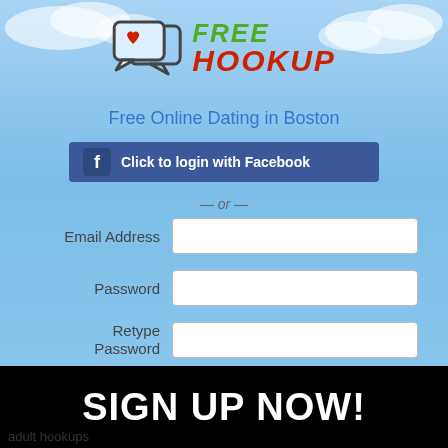[Figure (logo): Free Hookup logo with chat bubble icon containing a red heart, and colorful text reading FREE HOOKUP]
Free Online Dating in Boston
Click to login with Facebook
— or —
Email Address
Password
Retype Password
Sign Up
By clicking "Sign Up", you certify that you are at least 18 years old, and agree to the Terms of Use and Electronic Records terms. You'll receive flirt emails, new matches, and special promotions sent to you by FreeHookup.com. Please also review our
SIGN UP NOW!
adult hookups